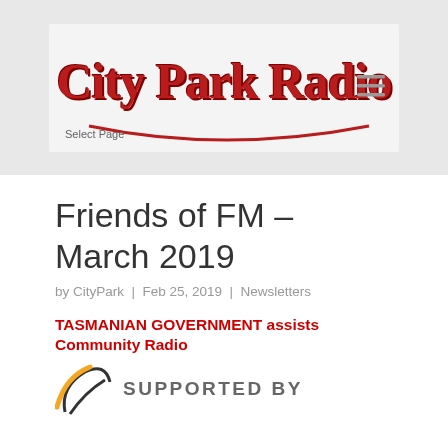[Figure (logo): City Park Radio logo with red serif text on light grey banner background, with arc underline and hamburger menu icon, and 'Select Page' dropdown label]
Friends of FM – March 2019
by CityPark | Feb 25, 2019 | Newsletters
TASMANIAN GOVERNMENT assists Community Radio
[Figure (logo): Tasmanian Government logo partial with 'SUPPORTED BY' text]